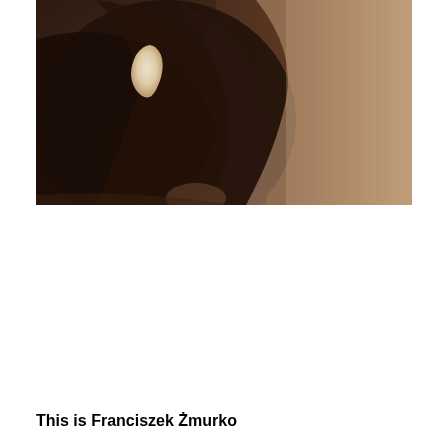[Figure (photo): A sepia-toned close-up photograph showing a person's torso and lower face/chin area, wearing dark clothing. A distinctive white leaf or flame-shaped highlight/marking is visible on the left side of the image. The background transitions from dark brown tones on the left to lighter beige tones on the right.]
This is Franciszek Żmurko